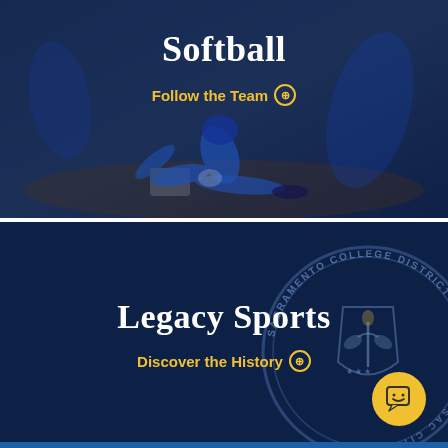Softball
Follow the Team ⊕
Legacy Sports
Discover the History ⊕
[Figure (illustration): Sacramento College District seal/logo watermark on dark navy background, bottom right corner]
[Figure (illustration): Yellow circular chat/bot button icon in bottom right corner]